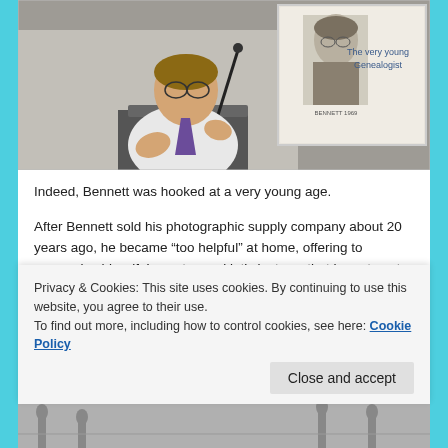[Figure (photo): A man speaking at a podium/lectern, gesturing with his hands, wearing a striped tie. Behind him is a projection screen showing a black-and-white photo of a young man with text reading 'The very young Genealogist' and 'BENNETT 1969'.]
Indeed, Bennett was hooked at a very young age.
After Bennett sold his photographic supply company about 20 years ago, he became “too helpful” at home, offering to reorganize his wife’s pantry, and let’s just say that he got sent to his room. However, it just happens that
Privacy & Cookies: This site uses cookies. By continuing to use this website, you agree to their use.
To find out more, including how to control cookies, see here: Cookie Policy
[Figure (photo): Partial view of another photo at the bottom of the page, partially obscured.]